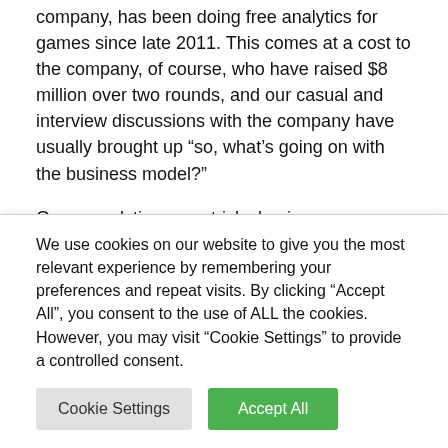company, has been doing free analytics for games since late 2011. This comes at a cost to the company, of course, who have raised $8 million over two rounds, and our casual and interview discussions with the company have usually brought up “so, what’s going on with the business model?”
Game analytics are a tricky business, as we wrote in CoFounder Magazine. Small gaming startups are too poor to justify paying for analytics on their trickle of downloads, and there are plenty of venture backed competitors providing free
We use cookies on our website to give you the most relevant experience by remembering your preferences and repeat visits. By clicking “Accept All”, you consent to the use of ALL the cookies. However, you may visit “Cookie Settings” to provide a controlled consent.